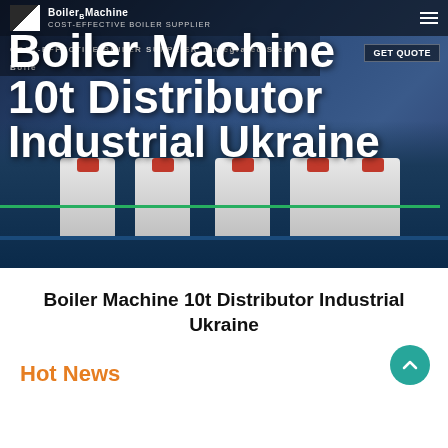[Figure (screenshot): Industrial boiler facility with multiple white boiler units on a blue-lit floor, overlaid with navigation bar and large white bold text reading 'Boiler Machine 10t Distributor Industrial Ukraine'. Navigation includes logo, 'COST-EFFECTIVE BOILER SUPPLIER' tagline, hamburger menu, and GET QUOTE button.]
Boiler Machine 10t Distributor Industrial Ukraine
Hot News